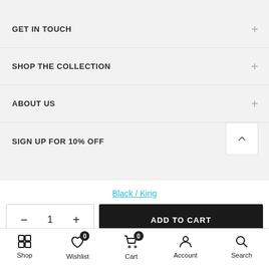GET IN TOUCH +
SHOP THE COLLECTION +
ABOUT US +
SIGN UP FOR 10% OFF
Black / King
- 1 + ADD TO CART
Shop  Wishlist 0  Cart 0  Account  Search